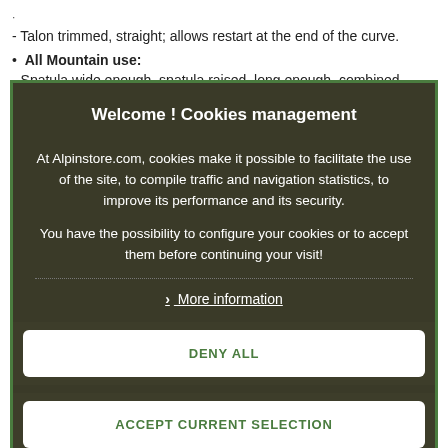- Talon trimmed, straight; allows restart at the end of the curve.
• All Mountain use:
- Spatula wide enough, spatula raised, long enough, combined
[Figure (screenshot): Cookie consent modal dialog from Alpinstore.com with title 'Welcome ! Cookies management', explanatory text, a dotted divider, 'More information' link, and three buttons: DENY ALL, ACCEPT CURRENT SELECTION, ACCEPT ALL (green).]